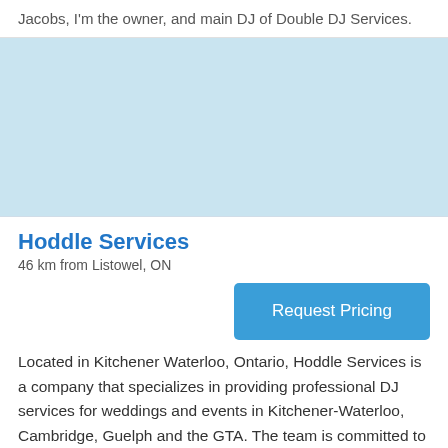Jacobs, I'm the owner, and main DJ of Double DJ Services.
[Figure (map): Light blue map area placeholder]
Hoddle Services
46 km from Listowel, ON
Request Pricing
Located in Kitchener Waterloo, Ontario, Hoddle Services is a company that specializes in providing professional DJ services for weddings and events in Kitchener-Waterloo, Cambridge, Guelph and the GTA. The team is committed to providing your